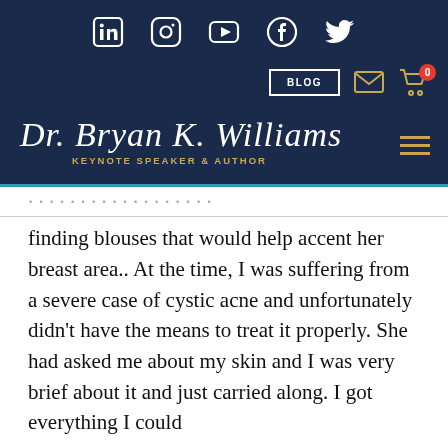Social media icons: LinkedIn, Instagram, YouTube, Facebook, Twitter
BLOG | email icon | cart icon (0)
Dr. Bryan K. Williams — KEYNOTE SPEAKER & AUTHOR
finding blouses that would help accent her breast area.. At the time, I was suffering from a severe case of cystic acne and unfortunately didn't have the means to treat it properly. She had asked me about my skin and I was very brief about it and just carried along. I got everything I could